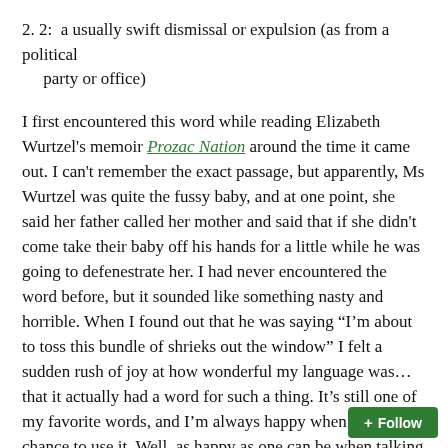2. 2:  a usually swift dismissal or expulsion (as from a political party or office)
I first encountered this word while reading Elizabeth Wurtzel's memoir Prozac Nation around the time it came out. I can't remember the exact passage, but apparently, Ms Wurtzel was quite the fussy baby, and at one point, she said her father called her mother and said that if she didn't come take their baby off his hands for a little while he was going to defenestrate her. I had never encountered the word before, but it sounded like something nasty and horrible. When I found out that he was saying “I’m about to toss this bundle of shrieks out the window” I felt a sudden rush of joy at how wonderful my language was... that it actually had a word for such a thing. It’s still one of my favorite words, and I’m always happy when I have a chance to use it. Well, as happy as one can be when talking about windows and things (or people) being thrown out of them.